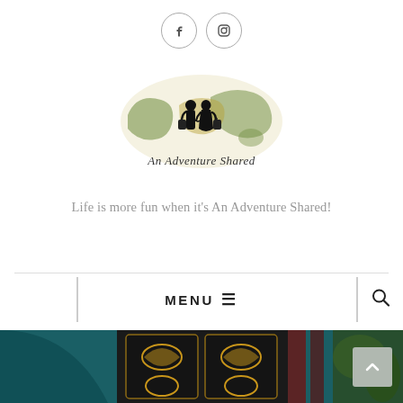[Figure (logo): Social media icons: Facebook and Instagram circular outlined buttons]
[Figure (logo): An Adventure Shared travel blog logo: silhouettes of couple with luggage over world map watercolor, with cursive 'An Adventure Shared' script below]
Life is more fun when it's An Adventure Shared!
MENU
[Figure (photo): Decorative ornate door with colorful carved and painted patterns in teal, dark and red tones, partially visible arch on left side]